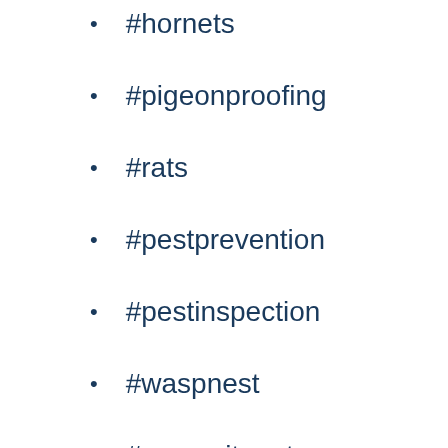#hornets
#pigeonproofing
#rats
#pestprevention
#pestinspection
#waspnest
#mosquitonets
#seattle